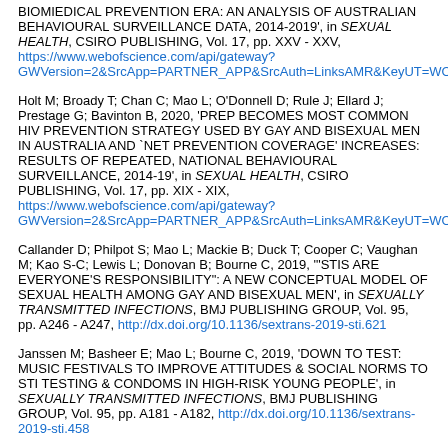BIOMIEDICAL PREVENTION ERA: AN ANALYSIS OF AUSTRALIAN BEHAVIOURAL SURVEILLANCE DATA, 2014-2019', in SEXUAL HEALTH, CSIRO PUBLISHING, Vol. 17, pp. XXV - XXV, https://www.webofscience.com/api/gateway?GWVersion=2&SrcApp=PARTNER_APP&SrcAuth=LinksAMR&KeyUT=WO
Holt M; Broady T; Chan C; Mao L; O'Donnell D; Rule J; Ellard J; Prestage G; Bavinton B, 2020, 'PREP BECOMES MOST COMMON HIV PREVENTION STRATEGY USED BY GAY AND BISEXUAL MEN IN AUSTRALIA AND `NET PREVENTION COVERAGE' INCREASES: RESULTS OF REPEATED, NATIONAL BEHAVIOURAL SURVEILLANCE, 2014-19', in SEXUAL HEALTH, CSIRO PUBLISHING, Vol. 17, pp. XIX - XIX, https://www.webofscience.com/api/gateway?GWVersion=2&SrcApp=PARTNER_APP&SrcAuth=LinksAMR&KeyUT=WO
Callander D; Philpot S; Mao L; Mackie B; Duck T; Cooper C; Vaughan M; Kao S-C; Lewis L; Donovan B; Bourne C, 2019, '"STIS ARE EVERYONE'S RESPONSIBILITY": A NEW CONCEPTUAL MODEL OF SEXUAL HEALTH AMONG GAY AND BISEXUAL MEN', in SEXUALLY TRANSMITTED INFECTIONS, BMJ PUBLISHING GROUP, Vol. 95, pp. A246 - A247, http://dx.doi.org/10.1136/sextrans-2019-sti.621
Janssen M; Basheer E; Mao L; Bourne C, 2019, 'DOWN TO TEST: MUSIC FESTIVALS TO IMPROVE ATTITUDES & SOCIAL NORMS TO STI TESTING & CONDOMS IN HIGH-RISK YOUNG PEOPLE', in SEXUALLY TRANSMITTED INFECTIONS, BMJ PUBLISHING GROUP, Vol. 95, pp. A181 - A182, http://dx.doi.org/10.1136/sextrans-2019-sti.458
Chen P; Lu T; Tallon S; Mao L; Donovan B; Bourne C; Templeton S...